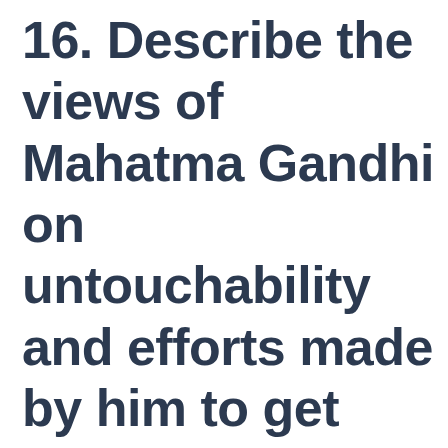16. Describe the views of Mahatma Gandhi on untouchability and efforts made by him to get Harijans their rights.